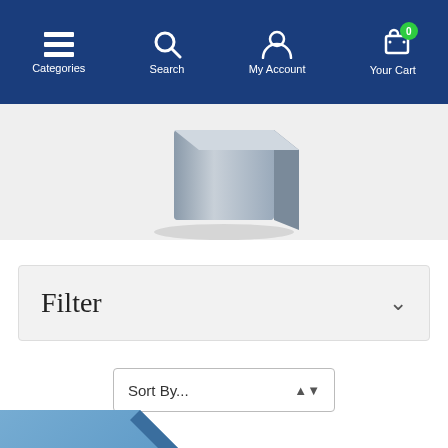Categories | Search | My Account | Your Cart (0)
[Figure (photo): Partial view of a product (appears to be a gray/silver appliance or safe) on a light gray background]
Filter ∨
Sort By...
[Figure (illustration): Blue diagonal corner ribbon banner with text 'ON SALE']